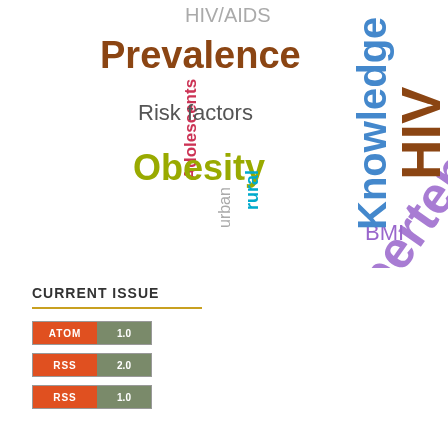[Figure (infographic): Word cloud with medical/health terms in various colors, sizes, and orientations: HIV/AIDS, Prevalence, Risk factors, Adolescents, Obesity, rural, urban, Hypertension, BMI, HIV, Knowledge, Elderly, ART, Stress, India, Depression, Diabetes, DOTS, Rural]
CURRENT ISSUE
[Figure (infographic): ATOM 1.0 feed badge - orange left panel with ATOM text, grey right panel with 1.0]
[Figure (infographic): RSS 2.0 feed badge - orange left panel with RSS text, grey right panel with 2.0]
[Figure (infographic): RSS 1.0 feed badge - orange left panel with RSS text, grey right panel with 1.0]